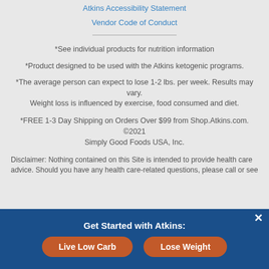Atkins Accessibility Statement
Vendor Code of Conduct
*See individual products for nutrition information
*Product designed to be used with the Atkins ketogenic programs.
*The average person can expect to lose 1-2 lbs. per week. Results may vary. Weight loss is influenced by exercise, food consumed and diet.
*FREE 1-3 Day Shipping on Orders Over $99 from Shop.Atkins.com. ©2021 Simply Good Foods USA, Inc.
Disclaimer: Nothing contained on this Site is intended to provide health care advice. Should you have any health care-related questions, please call or see
Get Started with Atkins:
Live Low Carb
Lose Weight